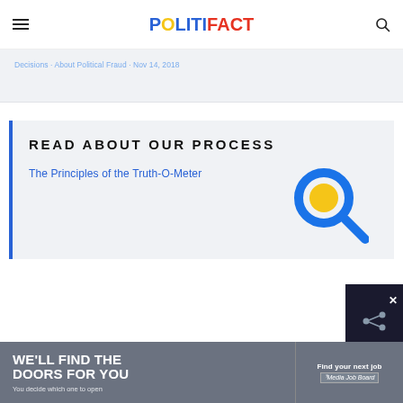POLITIFACT
Decisions · About Political Fraud · Nov 14, 2018
READ ABOUT OUR PROCESS
The Principles of the Truth-O-Meter
[Figure (illustration): Magnifying glass icon with blue ring and yellow/gold center circle, with blue handle]
[Figure (infographic): Advertisement banner: left side gray background with white bold text 'WE'LL FIND THE DOORS FOR YOU / You decide which one to open'; right side with 'Find your next job' and 'Media Job Board' logo]